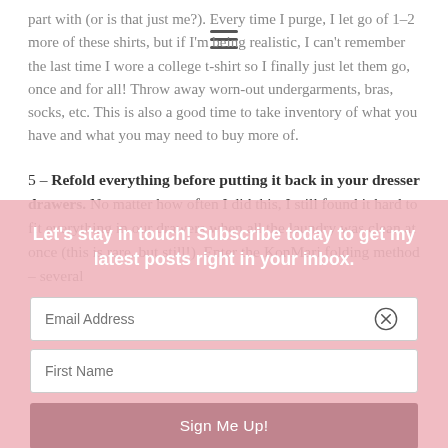part with (or is that just me?). Every time I purge, I let go of 1-2 more of these shirts, but if I'm being realistic, I can't remember the last time I wore a college t-shirt so I finally just let them go, once and for all! Throw away worn-out undergarments, bras, socks, etc. This is also a good time to take inventory of what you have and what you may need to buy more of.
5 – Refold everything before putting it back in your dresser drawers. No matter how often I did this, I still found it hard to fit everything in our drawers when all the laundry was clean at once (this is rare, but still!). Enter the KonMari folding method – several
Let's stay in touch! Subscribe today to get my latest posts right in your inbox.
Email Address
First Name
Sign Me Up!